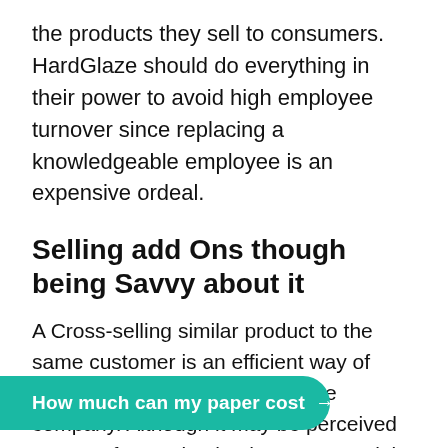the products they sell to consumers. HardGlaze should do everything in their power to avoid high employee turnover since replacing a knowledgeable employee is an expensive ordeal.
Selling add Ons though being Savvy about it
A Cross-selling similar product to the same customer is an efficient way of increasing business sales for the company. Although it may be perceived as sort of annoying by the customer, it is a sure way to improve the volume of sales. The best way for HardGlaze to adopt this approach would be by suggesting other additional pottery product it could offer to its existing customers. The most efficient way of doing this is duct to the usual rdGlaze since they
How much can my paper cost →